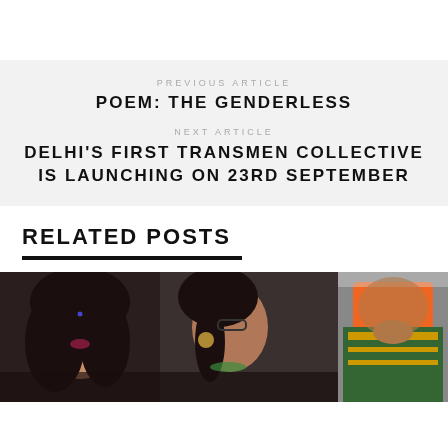PREVIOUS ARTICLE
POEM: THE GENDERLESS
NEXT ARTICLE
DELHI'S FIRST TRANSMEN COLLECTIVE IS LAUNCHING ON 23RD SEPTEMBER
RELATED POSTS
[Figure (photo): Two women photographed indoors, one with curly hair facing the camera and another in profile wearing large hoop earrings and glasses]
[Figure (photo): Person wearing an orange top and colorful green and gold saree, viewed from behind]